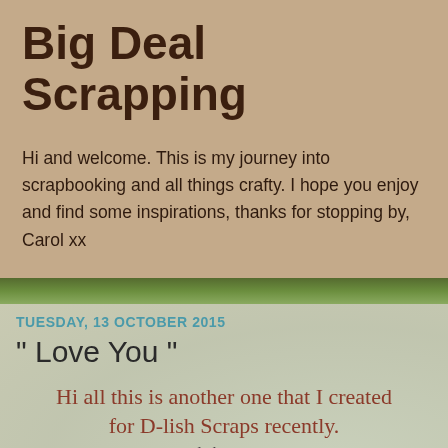Big Deal Scrapping
Hi and welcome. This is my journey into scrapbooking and all things crafty. I hope you enjoy and find some inspirations, thanks for stopping by, Carol xx
TUESDAY, 13 OCTOBER 2015
" Love You "
Hi all this is another one that I created for D-lish Scraps recently.
D-lish Scraps
I am slowly getting through all the posts that are waiting to be published.
This is a photo of my youngest granddaughter Eliza. The photo was taken at her day care centre for the